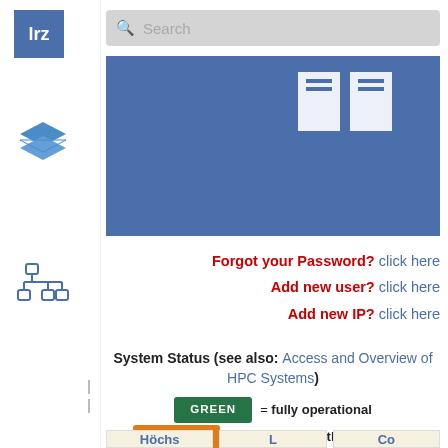[Figure (logo): LRZ logo - blue square with white 'lrz' text]
[Figure (illustration): Blue layered stack/layers icon]
[Figure (illustration): Blue tree/hierarchy icon]
Search
[Figure (screenshot): Blue banner image with two white document boxes in upper right]
Forgot your Password? click here
Add new user? click here
Add new IP? click here
System Status (see also: Access and Overview of HPC Systems)
GREEN = fully operational
YELLOW = operational with restrictions (see messages below)
RED = not available
| Höchs | L | Co |
| --- | --- | --- |